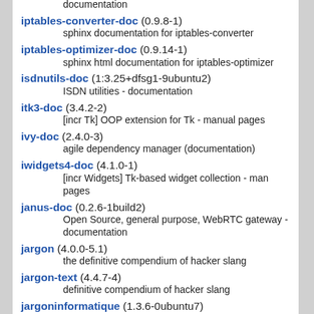documentation
iptables-converter-doc (0.9.8-1)
    sphinx documentation for iptables-converter
iptables-optimizer-doc (0.9.14-1)
    sphinx html documentation for iptables-optimizer
isdnutils-doc (1:3.25+dfsg1-9ubuntu2)
    ISDN utilities - documentation
itk3-doc (3.4.2-2)
    [incr Tk] OOP extension for Tk - manual pages
ivy-doc (2.4.0-3)
    agile dependency manager (documentation)
iwidgets4-doc (4.1.0-1)
    [incr Widgets] Tk-based widget collection - man pages
janus-doc (0.2.6-1build2)
    Open Source, general purpose, WebRTC gateway - documentation
jargon (4.0.0-5.1)
    the definitive compendium of hacker slang
jargon-text (4.4.7-4)
    definitive compendium of hacker slang
jargoninformatique (1.3.6-0ubuntu7)
    French dictionary of computer vocabulary
jargoninformatique-data (1.3.6-0ubuntu7)
    Data files for jargoninformatique
javacc-doc (5.0-8)
    Documentation for the JavaCC Parser